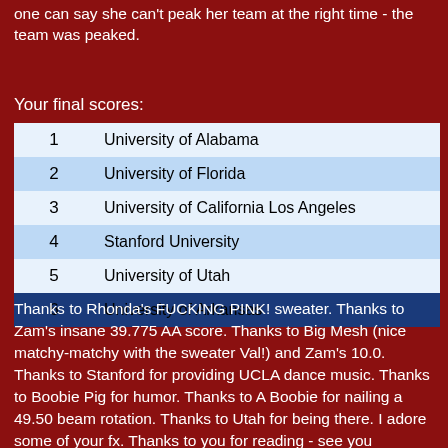one can say she can't peak her team at the right time - the team was peaked.
Your final scores:
|  |  |
| --- | --- |
| 1 | University of Alabama |
| 2 | University of Florida |
| 3 | University of California Los Angeles |
| 4 | Stanford University |
| 5 | University of Utah |
| 6 | University of Arkansas |
Thanks to Rhonda's FUCKING PINK! sweater. Thanks to Zam's insane 39.775 AA score. Thanks to Big Mesh (nice matchy-matchy with the sweater Val!) and Zam's 10.0. Thanks to Stanford for providing UCLA dance music. Thanks to Boobie Pig for humor. Thanks to A Boobie for nailing a 49.50 beam rotation. Thanks to Utah for being there. I adore some of your fx. Thanks to you for reading - see you tomorrow for EFs!